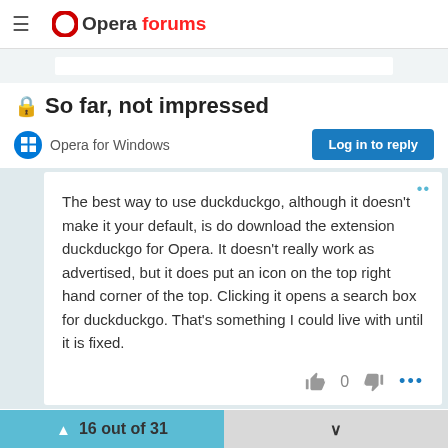Opera forums
🔒 So far, not impressed
Opera for Windows
Log in to reply
The best way to use duckduckgo, although it doesn't make it your default, is do download the extension duckduckgo for Opera. It doesn't really work as advertised, but it does put an icon on the top right hand corner of the top. Clicking it opens a search box for duckduckgo. That's something I could live with until it is fixed.
16 out of 31